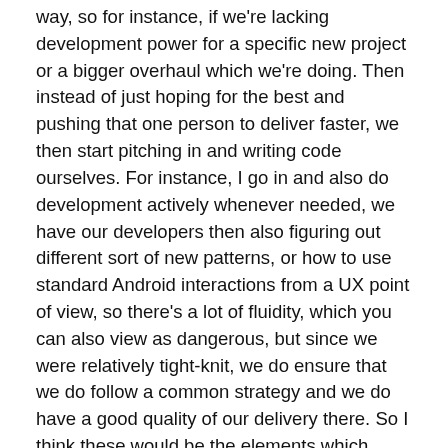way, so for instance, if we're lacking development power for a specific new project or a bigger overhaul which we're doing. Then instead of just hoping for the best and pushing that one person to deliver faster, we then start pitching in and writing code ourselves. For instance, I go in and also do development actively whenever needed, we have our developers then also figuring out different sort of new patterns, or how to use standard Android interactions from a UX point of view, so there's a lot of fluidity, which you can also view as dangerous, but since we were relatively tight-knit, we do ensure that we do follow a common strategy and we do have a good quality of our delivery there. So I think these would be the elements which helped us go very fast, and still help us go relatively fast because we were constantly going over what we either planned or was planned for us.
Attila Tóth: That's something really to think through. And I really like this idea of fluidity, which means that you